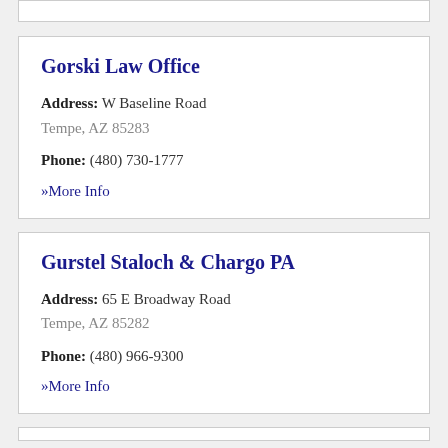Gorski Law Office
Address: W Baseline Road
Tempe, AZ 85283
Phone: (480) 730-1777
» More Info
Gurstel Staloch & Chargo PA
Address: 65 E Broadway Road
Tempe, AZ 85282
Phone: (480) 966-9300
» More Info